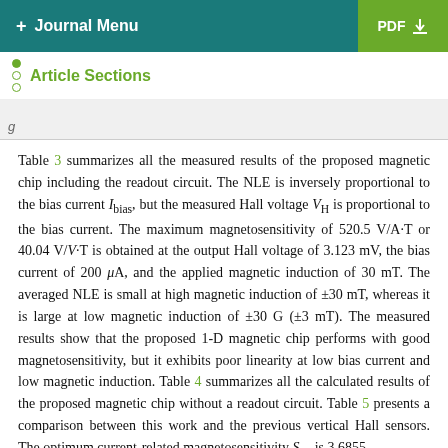+ Journal Menu  PDF
Article Sections
Table 3 summarizes all the measured results of the proposed magnetic chip including the readout circuit. The NLE is inversely proportional to the bias current I_bias, but the measured Hall voltage V_H is proportional to the bias current. The maximum magnetosensitivity of 520.5 V/A·T or 40.04 V/V·T is obtained at the output Hall voltage of 3.123 mV, the bias current of 200 μA, and the applied magnetic induction of 30 mT. The averaged NLE is small at high magnetic induction of ±30 mT, whereas it is large at low magnetic induction of ±30 G (±3 mT). The measured results show that the proposed 1-D magnetic chip performs with good magnetosensitivity, but it exhibits poor linearity at low bias current and low magnetic induction. Table 4 summarizes all the calculated results of the proposed magnetic chip without a readout circuit. Table 5 presents a comparison between this work and the previous vertical Hall sensors. The optimum current-related magnetosensitivity S_RI is 3.6855